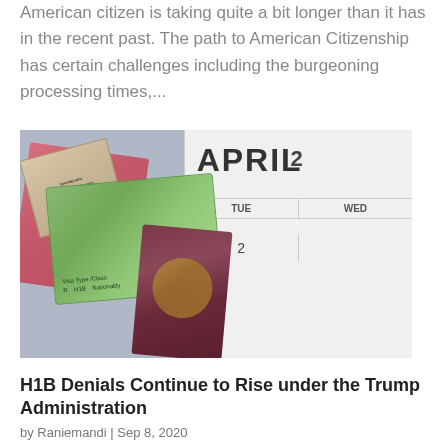American citizen is taking quite a bit longer than it has in the recent past. The path to American Citizenship has certain challenges including the burgeoning processing times,...
[Figure (photo): Photo showing immigration documents including a US Customs stamp, a green card with H1B visa text, a pink document, and a passport arranged on top of a calendar showing 'APRIL' with day columns TUE and WED visible and number 2.]
H1B Denials Continue to Rise under the Trump Administration
by Raniemandi | Sep 8, 2020